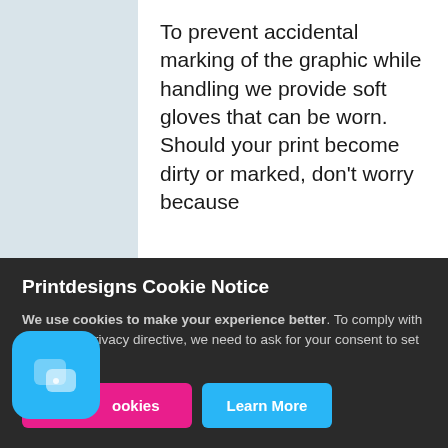To prevent accidental marking of the graphic while handling we provide soft gloves that can be worn. Should your print become dirty or marked, don't worry because
Printdesigns Cookie Notice
We use cookies to make your experience better. To comply with the new e-Privacy directive, we need to ask for your consent to set the cookies.
[Figure (logo): Blue rounded square app icon with two overlapping chat bubble shapes in lighter blue/white]
Cookies  Learn More